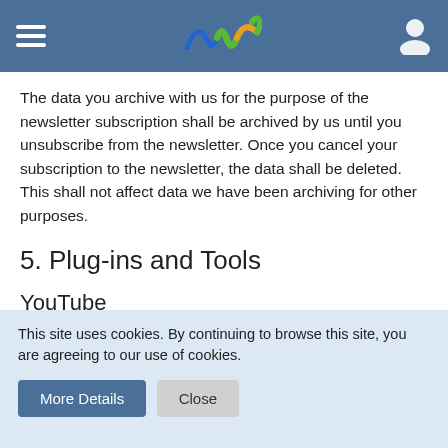Navigation header with logo
The data you archive with us for the purpose of the newsletter subscription shall be archived by us until you unsubscribe from the newsletter. Once you cancel your subscription to the newsletter, the data shall be deleted. This shall not affect data we have been archiving for other purposes.
5. Plug-ins and Tools
YouTube
Our website uses plug-ins of the YouTube platform, which is operated by Google. The website operator is YouTube, LLC, 901 Cherry Ave., San Bruno, CA 94066, USA.
This site uses cookies. By continuing to browse this site, you are agreeing to our use of cookies.